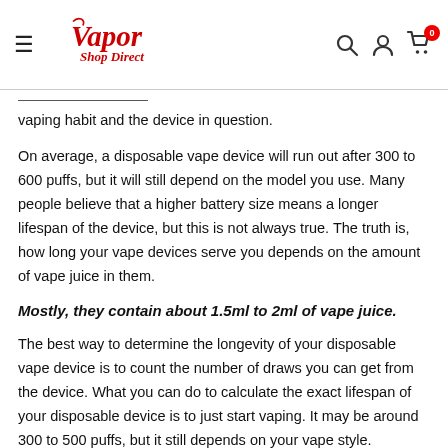Vapor Shop Direct — navigation header with hamburger menu, logo, search, account, and cart icons
vaping habit and the device in question.
On average, a disposable vape device will run out after 300 to 600 puffs, but it will still depend on the model you use. Many people believe that a higher battery size means a longer lifespan of the device, but this is not always true. The truth is, how long your vape devices serve you depends on the amount of vape juice in them.
Mostly, they contain about 1.5ml to 2ml of vape juice.
The best way to determine the longevity of your disposable vape device is to count the number of draws you can get from the device. What you can do to calculate the exact lifespan of your disposable device is to just start vaping. It may be around 300 to 500 puffs, but it still depends on your vape style.